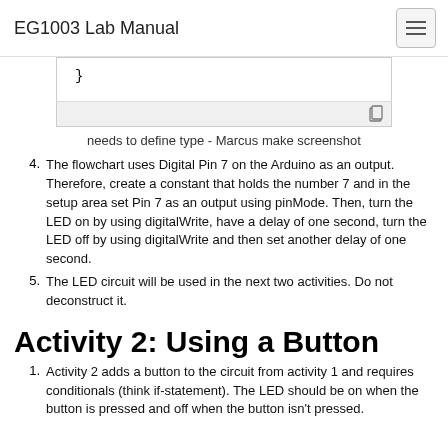EG1003 Lab Manual
[Figure (screenshot): Code block showing closing brace } with copy icon at bottom right]
needs to define type - Marcus make screenshot
The flowchart uses Digital Pin 7 on the Arduino as an output. Therefore, create a constant that holds the number 7 and in the setup area set Pin 7 as an output using pinMode. Then, turn the LED on by using digitalWrite, have a delay of one second, turn the LED off by using digitalWrite and then set another delay of one second.
The LED circuit will be used in the next two activities. Do not deconstruct it.
Activity 2: Using a Button
Activity 2 adds a button to the circuit from activity 1 and requires conditionals (think if-statement). The LED should be on when the button is pressed and off when the button isn't pressed.